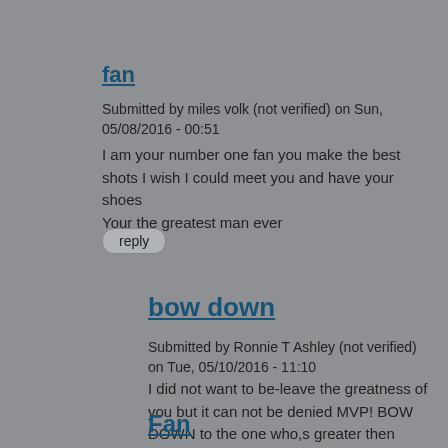fan
Submitted by miles volk (not verified) on Sun, 05/08/2016 - 00:51
I am your number one fan you make the best shots I wish I could meet you and have your shoes
Your the greatest man ever
reply
bow down
Submitted by Ronnie T Ashley (not verified) on Tue, 05/10/2016 - 11:10
I did not want to be-leave the greatness of you but it can not be denied MVP! BOW DOWN to the one who,s greater then them ALL!!!
reply
Fan